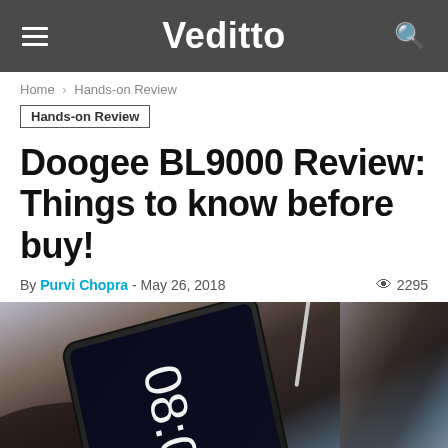Veditto
Home > Hands-on Review
Hands-on Review
Doogee BL9000 Review: Things to know before buy!
By Purvi Chopra - May 26, 2018  2295
[Figure (photo): Close-up photo of a Doogee BL9000 smartphone lying flat, showing the screen displaying 08:02, with a charging cable plugged in, on a textured surface.]